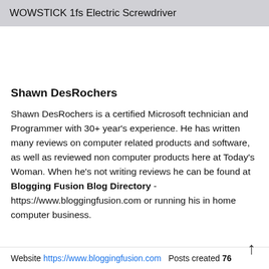WOWSTICK 1fs Electric Screwdriver
Shawn DesRochers
Shawn DesRochers is a certified Microsoft technician and Programmer with 30+ year's experience. He has written many reviews on computer related products and software, as well as reviewed non computer products here at Today's Woman. When he's not writing reviews he can be found at Blogging Fusion Blog Directory - https://www.bloggingfusion.com or running his in home computer business.
Website https://www.bloggingfusion.com  Posts created 76